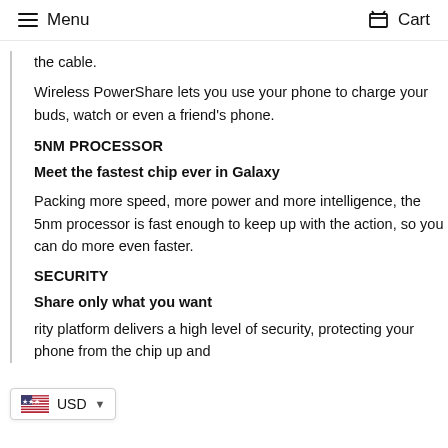Menu   Cart
the cable.
Wireless PowerShare lets you use your phone to charge your buds, watch or even a friend's phone.
5NM PROCESSOR
Meet the fastest chip ever in Galaxy
Packing more speed, more power and more intelligence, the 5nm processor is fast enough to keep up with the action, so you can do more even faster.
SECURITY
Share only what you want
rity platform delivers a high level of security, protecting your phone from the chip up and